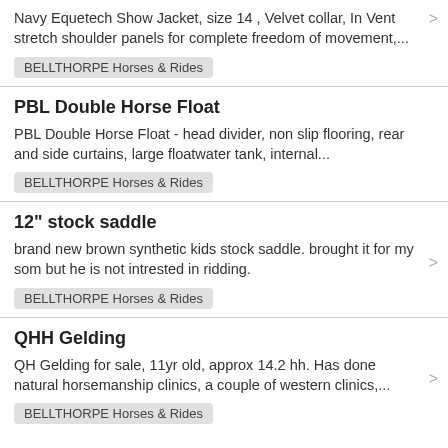Navy Equetech Show Jacket, size 14 , Velvet collar, In Vent stretch shoulder panels for complete freedom of movement,...
BELLTHORPE Horses & Rides
PBL Double Horse Float
PBL Double Horse Float - head divider, non slip flooring, rear and side curtains, large floatwater tank, internal...
BELLTHORPE Horses & Rides
12" stock saddle
brand new brown synthetic kids stock saddle. brought it for my som but he is not intrested in ridding.
BELLTHORPE Horses & Rides
QHH Gelding
QH Gelding for sale, 11yr old, approx 14.2 hh. Has done natural horsemanship clinics, a couple of western clinics,...
BELLTHORPE Horses & Rides